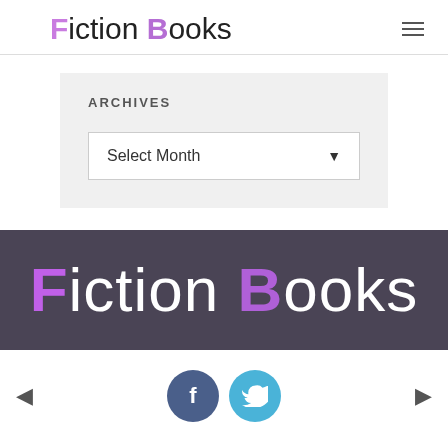Fiction Books
ARCHIVES
Select Month
[Figure (logo): Fiction Books logo in white and purple text on dark purple/grey background]
[Figure (infographic): Navigation arrows (left and right) with Facebook and Twitter social media circular icon buttons]